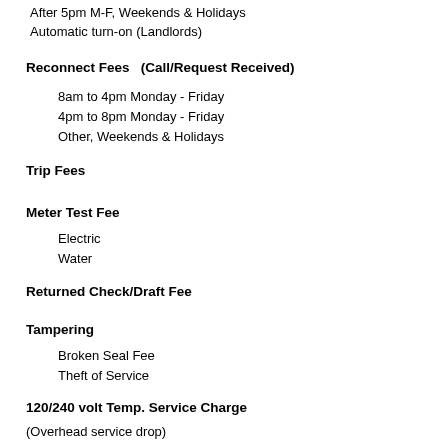After 5pm M-F, Weekends & Holidays
Automatic turn-on (Landlords)
Reconnect Fees   (Call/Request Received)
8am to 4pm Monday - Friday
4pm to 8pm Monday - Friday
Other, Weekends & Holidays
Trip Fees
Meter Test Fee
Electric
Water
Returned Check/Draft Fee
Tampering
Broken Seal Fee
Theft of Service
120/240 volt Temp. Service Charge
(Overhead service drop)